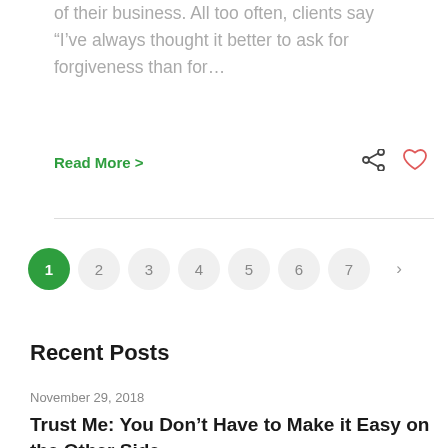of their business. All too often, clients say “I’ve always thought it better to ask for forgiveness than for…
Read More >
1 2 3 4 5 6 7 >
Recent Posts
November 29, 2018
Trust Me: You Don’t Have to Make it Easy on the Other Side